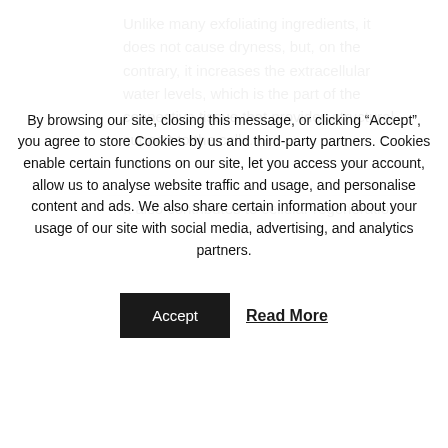Unlike many exfoliating ingredients, it does not cause dryness, but, on the contrary, it increases the extracellular water levels, which is the part of the connective tissue that provides structural support to the cells.
It also contributes to cellular regeneration
By browsing our site, closing this message, or clicking “Accept”, you agree to store Cookies by us and third-party partners. Cookies enable certain functions on our site, let you access your account, allow us to analyse website traffic and usage, and personalise content and ads. We also share certain information about your usage of our site with social media, advertising, and analytics partners.
Accept
Read More